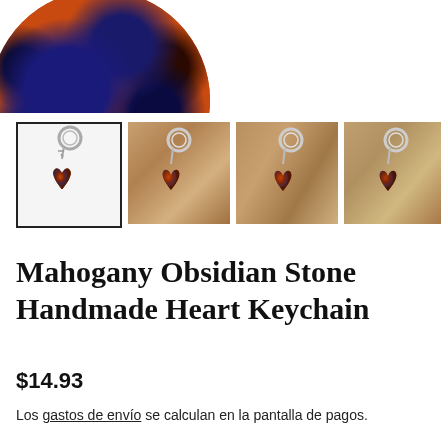[Figure (photo): Close-up of a mahogany obsidian stone with orange and dark blue/black mottled pattern, partially cropped at top of page]
[Figure (photo): Four thumbnail product photos of a mahogany obsidian stone heart keychain. First thumbnail is selected (has border). Shows silver keyring with chain and heart-shaped orange/brown obsidian stone pendant, set against white or wooden backgrounds.]
Mahogany Obsidian Stone Handmade Heart Keychain
$14.93
Los gastos de envío se calculan en la pantalla de pagos.